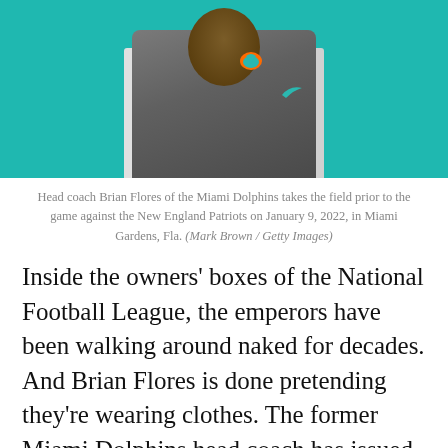[Figure (photo): Head coach Brian Flores of the Miami Dolphins on the sideline, wearing a gray Dolphins vest over white long-sleeve shirt, in front of teal background]
Head coach Brian Flores of the Miami Dolphins takes the field prior to the game against the New England Patriots on January 9, 2022, in Miami Gardens, Fla. (Mark Brown / Getty Images)
Inside the owners' boxes of the National Football League, the emperors have been walking around naked for decades. And Brian Flores is done pretending they're wearing clothes. The former Miami Dolphins head coach has issued a thunderclap of a lawsuit, on the first day of Black History Month, accusing the National Football League of